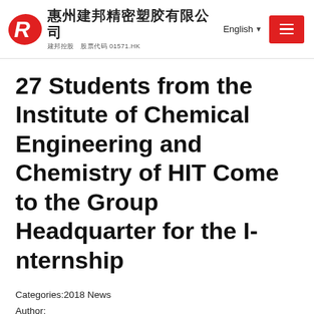惠州建邦精密塑胶有限公司 建邦控股 股票代码 01571.HK English
27 Students from the Institute of Chemical Engineering and Chemistry of HIT Come to the Group Headquarter for the Internship
Categories:2018 News
Author:
Origin:
Time of issue:2018-09-06
Views:18